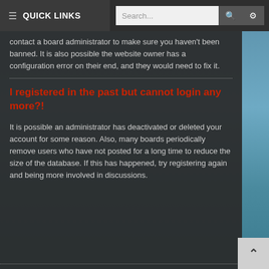≡ QUICK LINKS   Search...   🔍   ⚙
contact a board administrator to make sure you haven't been banned. It is also possible the website owner has a configuration error on their end, and they would need to fix it.
I registered in the past but cannot login any more?!
It is possible an administrator has deactivated or deleted your account for some reason. Also, many boards periodically remove users who have not posted for a long time to reduce the size of the database. If this has happened, try registering again and being more involved in discussions.